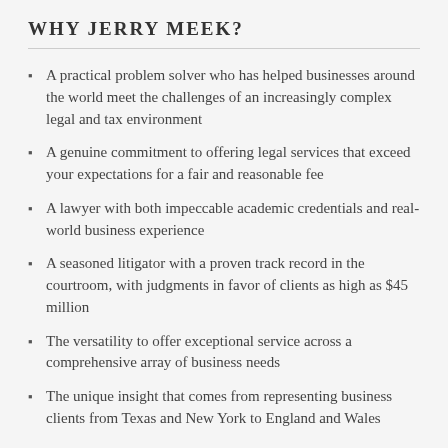WHY JERRY MEEK?
A practical problem solver who has helped businesses around the world meet the challenges of an increasingly complex legal and tax environment
A genuine commitment to offering legal services that exceed your expectations for a fair and reasonable fee
A lawyer with both impeccable academic credentials and real-world business experience
A seasoned litigator with a proven track record in the courtroom, with judgments in favor of clients as high as $45 million
The versatility to offer exceptional service across a comprehensive array of business needs
The unique insight that comes from representing business clients from Texas and New York to England and Wales